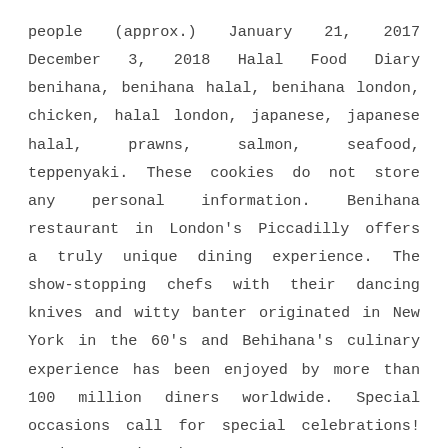people (approx.) January 21, 2017 December 3, 2018 Halal Food Diary benihana, benihana halal, benihana london, chicken, halal london, japanese, japanese halal, prawns, salmon, seafood, teppenyaki. These cookies do not store any personal information. Benihana restaurant in London's Piccadilly offers a truly unique dining experience. The show-stopping chefs with their dancing knives and witty banter originated in New York in the 60's and Behihana's culinary experience has been enjoyed by more than 100 million diners worldwide. Special occasions call for special celebrations! Sunday - Thursday 6:00 pm - 12:00 am (11:30 pm last order) Friday Brunch 12:30 pm - 4:30 pm Dinner 6:00 pm - 12:00 am (11:30 pm last order) Saturday Finance Analyst by day, but hungry foodie by … Beta Price change